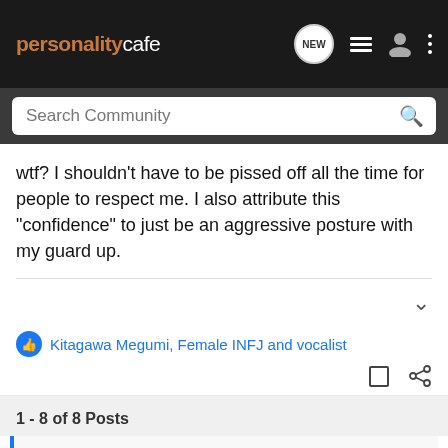personalitycafe
wtf? I shouldn't have to be pissed off all the time for people to respect me. I also attribute this "confidence" to just be an aggressive posture with my guard up.
Kitagawa Megumi, Female INFJ and vocalist
1 - 8 of 8 Posts
This is an older thread, you may not receive a response, and could be reviving an old thread. Please consider creating a new thread.